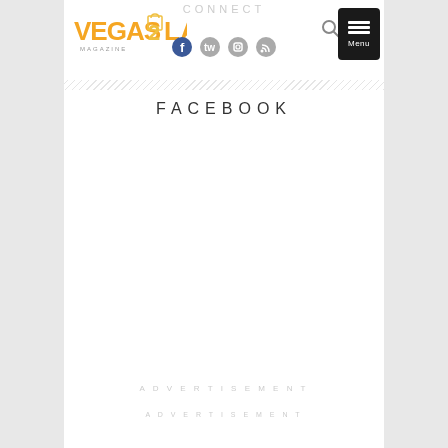CONNECT
[Figure (logo): Vegas2LA Magazine logo with orange/yellow stylized text and shopping bag icon]
[Figure (infographic): Social media icons row: Facebook, Twitter, Instagram, RSS]
FACEBOOK
ADVERTISEMENT
ADVERTISEMENT